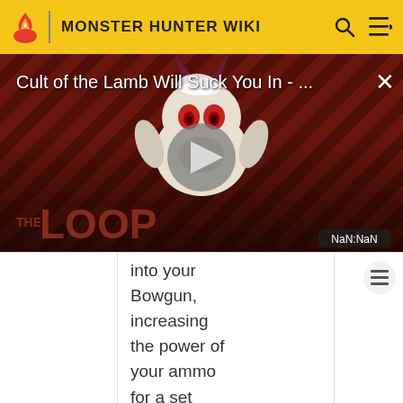MONSTER HUNTER WIKI
[Figure (screenshot): Video thumbnail overlay showing 'Cult of the Lamb Will Suck You In - ...' with a play button, diagonal red/brown stripe background, a cartoon monster character, 'THE LOOP' watermark, close button (X), and NaN:NaN time badge]
into your Bowgun, increasing the power of your ammo for a set number of